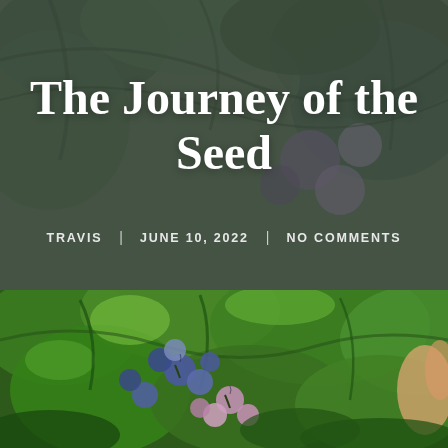[Figure (photo): Blurred close-up background of blueberry plant with dark green leaves and blueberries, used as hero background image with dark overlay]
The Journey of the Seed
TRAVIS | JUNE 10, 2022 | NO COMMENTS
[Figure (photo): Close-up photograph of blueberry bush with bright green leaves, ripe blue blueberries and unripe pink/white blueberries clusters, shot in bright sunlight]